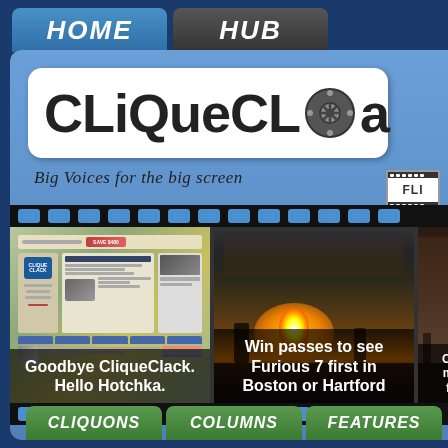HOME | HUB
[Figure (logo): CliqueClack logo with film reel icon and tagline 'Big Voices for the big screen']
Big Voices for the big screen
[Figure (screenshot): Film strip with three frames: (1) Screenshot of CliqueClack website with caption 'Goodbye CliqueClack. Hello Hotchka.', (2) Action scene with fire and caption 'Win passes to see Furious 7 first in Boston or Hartford', (3) Partial dark scene]
Goodbye CliqueClack. Hello Hotchka.
Win passes to see Furious 7 first in Boston or Hartford
CLIQUONS | COLUMNS | FEATURES